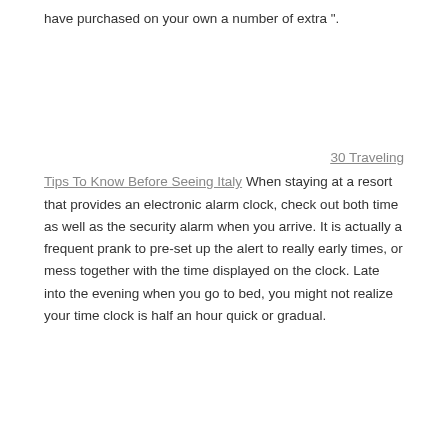have purchased on your own a number of extra ".
30 Traveling
Tips To Know Before Seeing Italy When staying at a resort that provides an electronic alarm clock, check out both time as well as the security alarm when you arrive. It is actually a frequent prank to pre-set up the alert to really early times, or mess together with the time displayed on the clock. Late into the evening when you go to bed, you might not realize your time clock is half an hour quick or gradual.